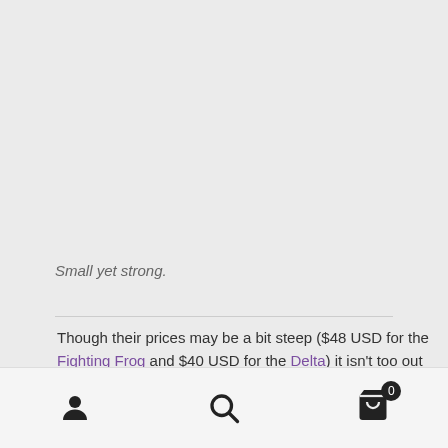Small yet strong.
Though their prices may be a bit steep ($48 USD for the Fighting Frog and $40 USD for the Delta) it isn't too out of line with similar weight titanium products.
You can even double them and jewelry in non-permissive
User icon | Search icon | Cart icon (0)